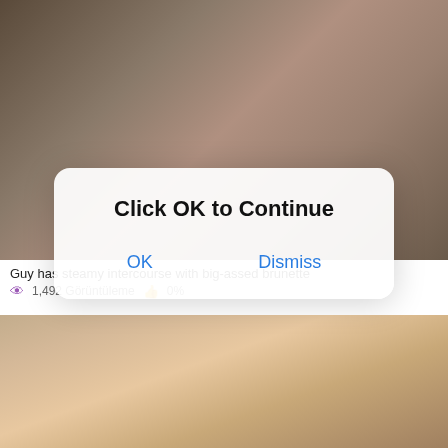[Figure (screenshot): Screenshot of a video streaming website showing explicit video content thumbnails with overlaid modal dialog]
15:57
günler önce
Guy has steamy intercourse with big-assed brunette
1,492 Görüntüleme   0%
Click OK to Continue
OK
Dismiss